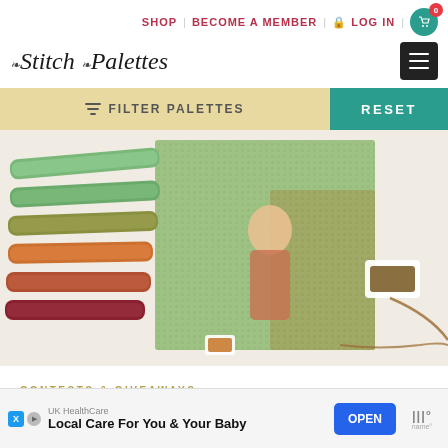SHOP | BECOME A MEMBER | LOG IN | 0
Stitch Palettes
FILTER PALETTES | RESET
[Figure (photo): Colorful embroidery floss skeins in green, olive, orange, rust, burgundy colors arranged on left side. A cross-stitch canvas showing a figure on a green/orange background in the center. A small spool of olive thread on the right. Brown thread trailing across the image.]
CONTESTS & GIVEAWAYS
Guess The Palette
UK HealthCare Local Care For You & Your Baby OPEN